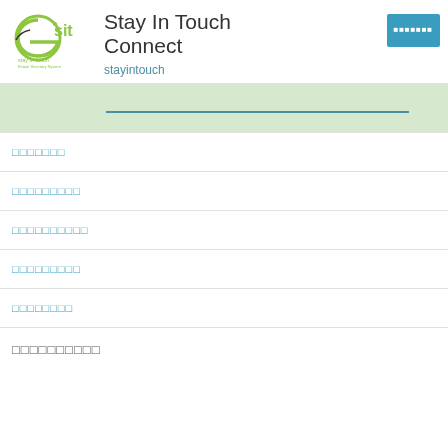[Figure (logo): e-sit stay in touch logo with green swirl and text]
Stay In Touch Connect
stayintouch
xxxxxxx (button)
(search bar)
xxxxxxx
xxxxxxxxx
xxxxxxxxxx
xxxxxxxxx
xxxxxxxx
xxxxxxxxxx